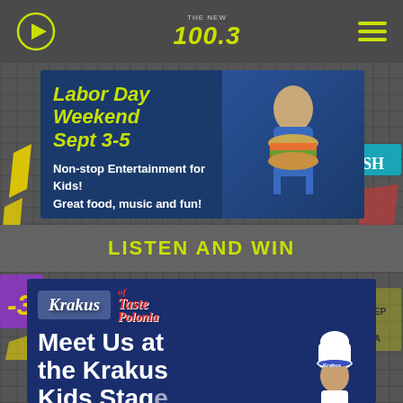THE NEW 100.3
[Figure (screenshot): Banner advertisement for Labor Day Weekend Sept 3-5, Non-stop Entertainment for Kids! Great food, music and fun! on a blue background with a girl holding a large burger]
LISTEN AND WIN
[Figure (screenshot): Krakus - Taste of Polonia advertisement: Meet Us at the Krakus Kids Stage, with chef in white hat on blue background]